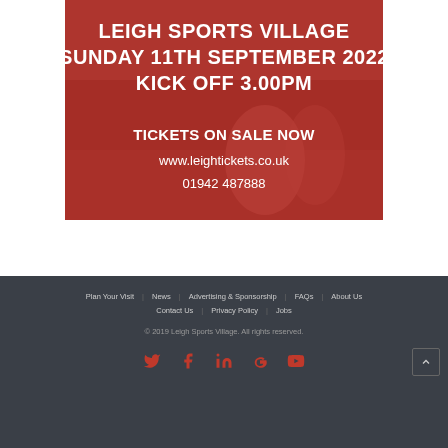[Figure (photo): Sports match photo with red overlay showing event details for Leigh Sports Village, Sunday 11th September 2022, Kick Off 3.00pm, Tickets on Sale Now at www.leightickets.co.uk, phone 01942 487888]
Plan Your Visit | News | Advertising & Sponsorship | FAQs | About Us | Contact Us | Privacy Policy | Jobs | © 2019 Leigh Sports Village. All rights reserved.